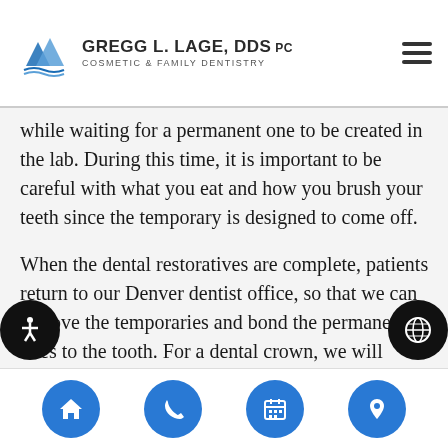Gregg L. Lage, DDS PC — Cosmetic & Family Dentistry
while waiting for a permanent one to be created in the lab. During this time, it is important to be careful with what you eat and how you brush your teeth since the temporary is designed to come off.
When the dental restoratives are complete, patients return to our Denver dentist office, so that we can remove the temporaries and bond the permanent ones to the tooth. For a dental crown, we will secure the cap around the tooth and complete it through dental bonding. With a bridge, a crown is placed on the two teeth that are surrounding the missing one. On top of the
Navigation: Home, Phone, Calendar, Location